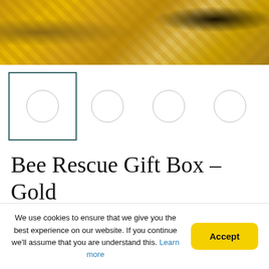[Figure (photo): Close-up photo of golden/yellow shredded paper or ribbon with a gold chain/bracelet visible on the left side and dark object on the right, suggesting luxury gift box contents.]
[Figure (other): Row of four circular thumbnail image selectors below the main product image. The first thumbnail is selected (highlighted with a teal/dark green border box). All four thumbnails show empty circles (no loaded images).]
Bee Rescue Gift Box – Gold
The Bee Rescue Gift Box is a fantastic gift box that features
We use cookies to ensure that we give you the best experience on our website. If you continue we'll assume that you are understand this. Learn more